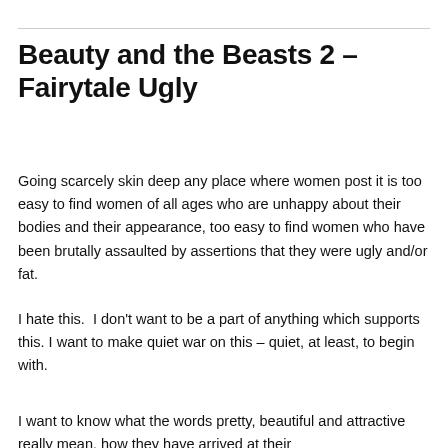Beauty and the Beasts 2 – Fairytale Ugly
Going scarcely skin deep any place where women post it is too easy to find women of all ages who are unhappy about their bodies and their appearance, too easy to find women who have been brutally assaulted by assertions that they were ugly and/or fat.
I hate this.  I don't want to be a part of anything which supports this. I want to make quiet war on this – quiet, at least, to begin with.
I want to know what the words pretty, beautiful and attractive really mean, how they have arrived at their